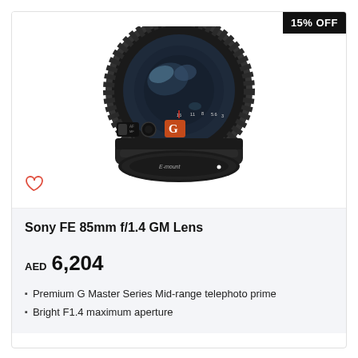[Figure (photo): Sony FE 85mm f/1.4 GM Lens product photo showing a black camera lens from front-left angle, with G Master logo badge in orange/red, focus ring, aperture markings, and E-mount base]
15% OFF
Sony FE 85mm f/1.4 GM Lens
AED  6,204
Premium G Master Series Mid-range telephoto prime
Bright F1.4 maximum aperture